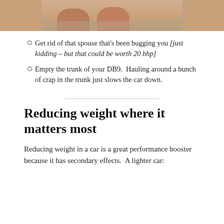[Figure (photo): Cropped photo showing feet on a weighing scale, bottom portion of the image visible at the top of the page]
Get rid of that spouse that's been bugging you [just kidding – but that could be worth 20 bhp]
Empty the trunk of your DB9.  Hauling around a bunch of crap in the trunk just slows the car down.
Reducing weight where it matters most
Reducing weight in a car is a great performance booster because it has secondary effects.  A lighter car: